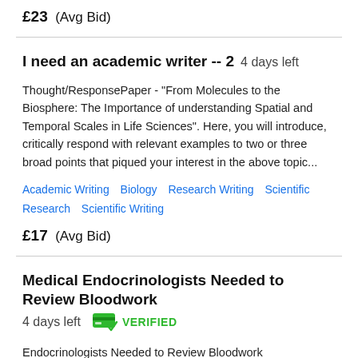£23  (Avg Bid)
I need an academic writer -- 2   4 days left
Thought/ResponsePaper - "From Molecules to the Biosphere: The Importance of understanding Spatial and Temporal Scales in Life Sciences". Here, you will introduce, critically respond with relevant examples to two or three broad points that piqued your interest in the above topic...
Academic Writing   Biology   Research Writing   Scientific Research   Scientific Writing
£17  (Avg Bid)
Medical Endocrinologists Needed to Review Bloodwork   4 days left   VERIFIED
Endocrinologists Needed to Review Bloodwork
Academic Medicine   Biology   Medical   Scientific